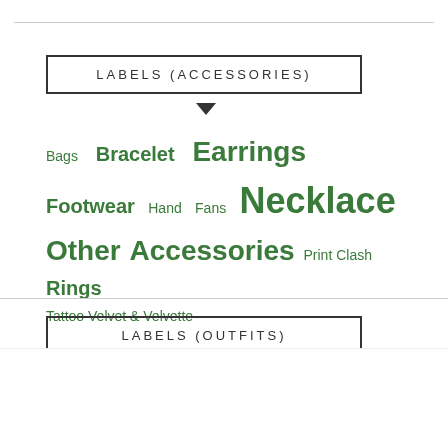LABELS (ACCESSORIES)
Bags  Bracelet  Earrings  Footwear  Hand  Fans  Necklace  Other Accessories  Print Clash  Rings  Tattoo Velvet & Velvette
LABELS (OUTFITS)
Jeans  Dresses  Everyday  Formals
Cookie Consent
This site uses cookies to deliver its services and to analyse traffic.
Read More
Decline
Ok